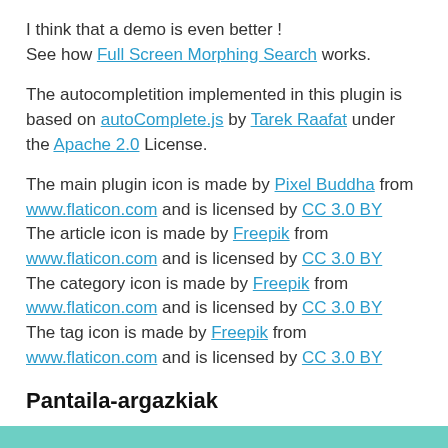I think that a demo is even better !
See how Full Screen Morphing Search works.
The autocompletition implemented in this plugin is based on autoComplete.js by Tarek Raafat under the Apache 2.0 License.
The main plugin icon is made by Pixel Buddha from www.flaticon.com and is licensed by CC 3.0 BY
The article icon is made by Freepik from www.flaticon.com and is licensed by CC 3.0 BY
The category icon is made by Freepik from www.flaticon.com and is licensed by CC 3.0 BY
The tag icon is made by Freepik from www.flaticon.com and is licensed by CC 3.0 BY
Pantaila-argazkiak
[Figure (other): Teal/green colored bar at the bottom of the page, part of a screenshot preview]